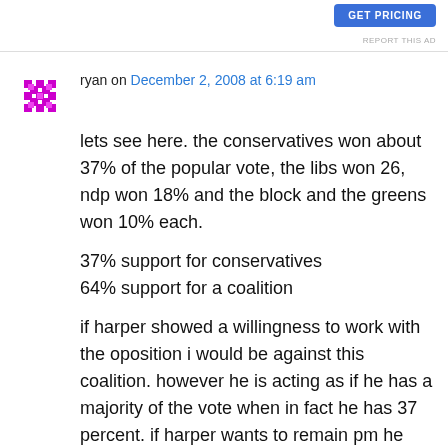[Figure (other): Blue 'GET PRICING' button in top right corner]
REPORT THIS AD
ryan on December 2, 2008 at 6:19 am
lets see here. the conservatives won about 37% of the popular vote, the libs won 26, ndp won 18% and the block and the greens won 10% each.

37% support for conservatives
64% support for a coalition

if harper showed a willingness to work with the oposition i would be against this coalition. however he is acting as if he has a majority of the vote when in fact he has 37 percent. if harper wants to remain pm he has to include the